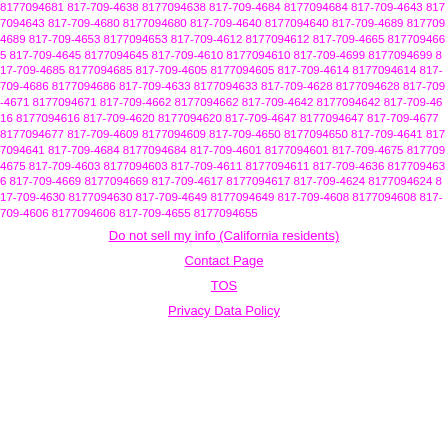8177094681 817-709-4638 8177094638 817-709-4684 8177094684 817-709-4643 8177094643 817-709-4680 8177094680 817-709-4640 8177094640 817-709-4689 8177094689 817-709-4653 8177094653 817-709-4612 8177094612 817-709-4665 8177094665 817-709-4645 8177094645 817-709-4610 8177094610 817-709-4699 8177094699 817-709-4685 8177094685 817-709-4605 8177094605 817-709-4614 8177094614 817-709-4686 8177094686 817-709-4633 8177094633 817-709-4628 8177094628 817-709-4671 8177094671 817-709-4662 8177094662 817-709-4642 8177094642 817-709-4616 8177094616 817-709-4620 8177094620 817-709-4647 8177094647 817-709-4677 8177094677 817-709-4609 8177094609 817-709-4650 8177094650 817-709-4641 8177094641 817-709-4684 8177094684 817-709-4601 8177094601 817-709-4675 8177094675 817-709-4603 8177094603 817-709-4611 8177094611 817-709-4636 8177094636 817-709-4669 8177094669 817-709-4617 8177094617 817-709-4624 8177094624 817-709-4630 8177094630 817-709-4649 8177094649 817-709-4608 8177094608 817-709-4606 8177094606 817-709-4655 8177094655
Do not sell my info (California residents)
Contact Page
TOS
Privacy Data Policy